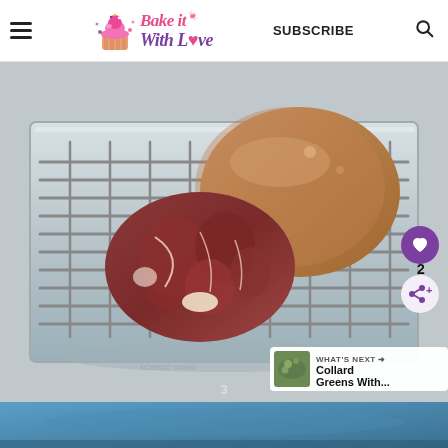Bake it With Love — SUBSCRIBE
[Figure (photo): Raw pork ham hock sitting on a wire rack over a baking sheet/tray, showing the cross-section of meat. UI overlays include a purple heart icon, a share icon, a count of 2, a 'WHAT'S NEXT' banner showing 'Collard Greens With...', and a slide number 3.]
[Figure (photo): Bottom strip showing a partial view of another food photo with blue/teal background.]